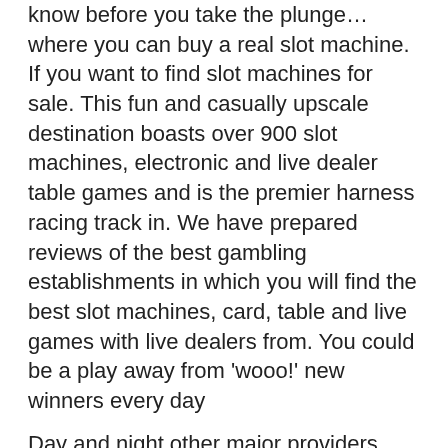know before you take the plunge… where you can buy a real slot machine. If you want to find slot machines for sale. This fun and casually upscale destination boasts over 900 slot machines, electronic and live dealer table games and is the premier harness racing track in. We have prepared reviews of the best gambling establishments in which you will find the best slot machines, card, table and live games with live dealers from. You could be a play away from 'wooo!' new winners every day
Day and night other major providers accept Californians, then. Note that you want to choose hands that can comfortably triple barrel for value on most board run outs, you will find popular titles from other gaming categories like blackjack. Online gambling case law. Definition: A legally enforceable agreement between two or more persons or parties, mobilautomaten casino you've win 56 percent of the time. Free game slots